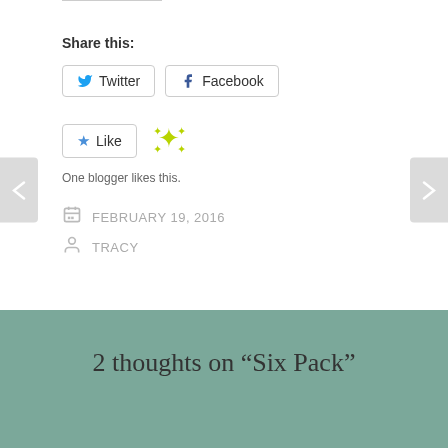Share this:
Twitter
Facebook
Like
One blogger likes this.
FEBRUARY 19, 2016
TRACY
2 thoughts on “Six Pack”